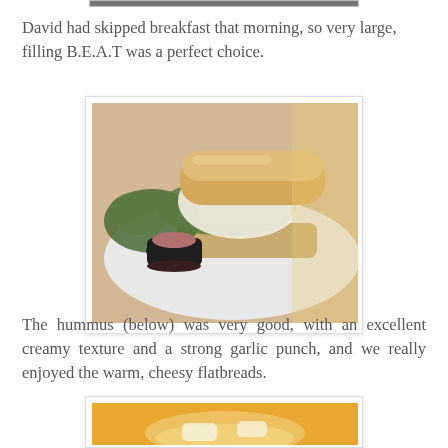[Figure (photo): Partial top strip of a photo visible at the very top of the page]
David had skipped breakfast that morning, so very large, filling B.E.A.T was a perfect choice.
[Figure (photo): A large sandwich (B.E.A.T) on a white plate with a side salad and a small black cup of dipping sauce, served in a cafe setting]
The hummus (below) was very good, with an excellent creamy texture and a strong garlic punch, and we really enjoyed the warm, cheesy flatbreads.
[Figure (photo): Bottom portion of a photo showing what appears to be hummus with flatbreads, warm orange/yellow tones, partially cropped at page bottom]